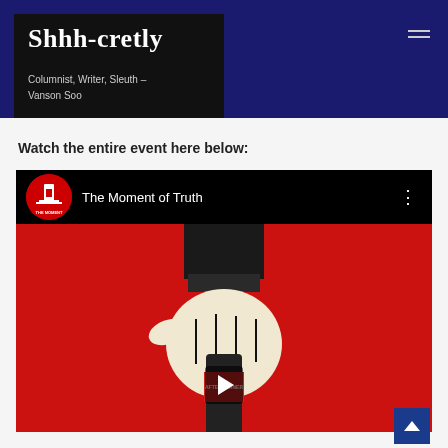Shhh-cretly
Columnist, Writer, Sleuth –
Vanson Soo
Watch the entire event here below:
[Figure (screenshot): YouTube video embed showing 'The Moment of Truth' with a red background illustration of a hand holding a bottle, with a play button overlay]